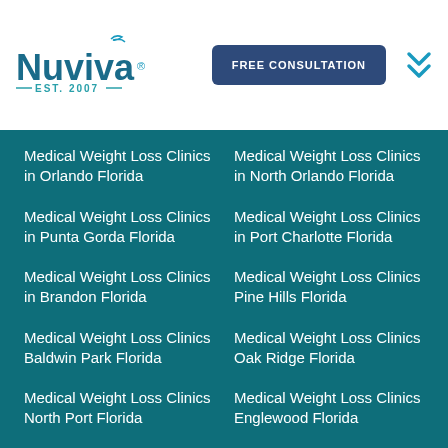[Figure (logo): Nuviva logo with bird icon and EST. 2007 tagline]
FREE CONSULTATION
Medical Weight Loss Clinics in Orlando Florida
Medical Weight Loss Clinics in North Orlando Florida
Medical Weight Loss Clinics in Punta Gorda Florida
Medical Weight Loss Clinics in Port Charlotte Florida
Medical Weight Loss Clinics in Brandon Florida
Medical Weight Loss Clinics Pine Hills Florida
Medical Weight Loss Clinics Baldwin Park Florida
Medical Weight Loss Clinics Oak Ridge Florida
Medical Weight Loss Clinics North Port Florida
Medical Weight Loss Clinics Englewood Florida
Medical Weight Loss Clinics Pinollas Park Florida
Medical Weight Loss Clinics Town N Country